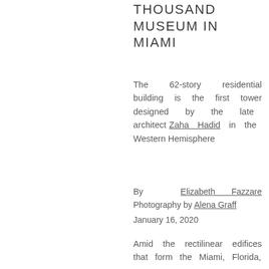THOUSAND MUSEUM IN MIAMI
The 62-story residential building is the first tower designed by the late architect Zaha Hadid in the Western Hemisphere
By Elizabeth Fazzare
Photography by Alena Graff
January 16, 2020
Amid the rectilinear edifices that form the Miami, Florida,